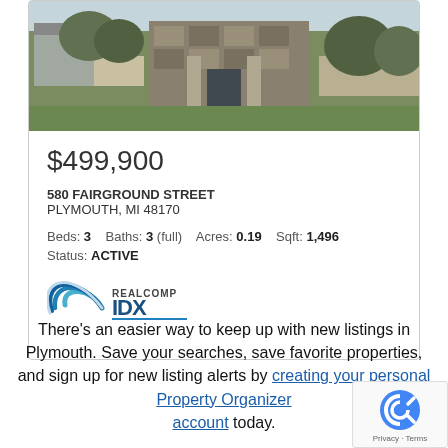[Figure (photo): Exterior photo of a stone-front residential home at 580 Fairground Street, Plymouth MI, with green grass and trees visible]
$499,900
580 FAIRGROUND STREET
PLYMOUTH, MI 48170
Beds: 3   Baths: 3 (full)   Acres: 0.19   Sqft: 1,496
Status: ACTIVE
[Figure (logo): Realcomp IDX logo with blue swirl and text]
There's an easier way to keep up with new listings in Plymouth. Save your searches, save favorite properties, and sign up for new listing alerts by creating your personal Property Organizer account today.